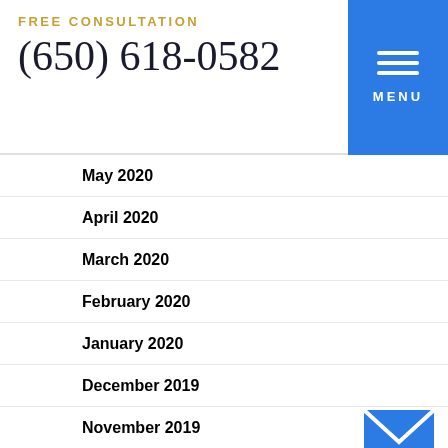FREE CONSULTATION
(650) 618-0582
May 2020
April 2020
March 2020
February 2020
January 2020
December 2019
November 2019
October 2019